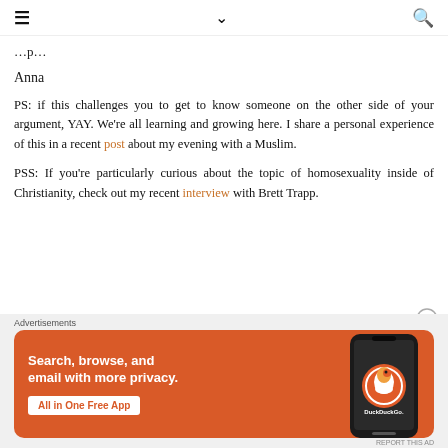≡  ∨  🔍
...p...
Anna
PS: if this challenges you to get to know someone on the other side of your argument, YAY. We're all learning and growing here. I share a personal experience of this in a recent post about my evening with a Muslim.
PSS: If you're particularly curious about the topic of homosexuality inside of Christianity, check out my recent interview with Brett Trapp.
[Figure (infographic): DuckDuckGo advertisement banner: orange background with text 'Search, browse, and email with more privacy. All in One Free App' and a phone graphic showing DuckDuckGo logo.]